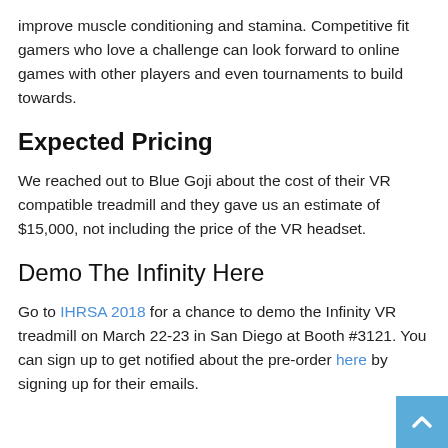improve muscle conditioning and stamina. Competitive fit gamers who love a challenge can look forward to online games with other players and even tournaments to build towards.
Expected Pricing
We reached out to Blue Goji about the cost of their VR compatible treadmill and they gave us an estimate of $15,000, not including the price of the VR headset.
Demo The Infinity Here
Go to IHRSA 2018 for a chance to demo the Infinity VR treadmill on March 22-23 in San Diego at Booth #3121. You can sign up to get notified about the pre-order here by signing up for their emails.